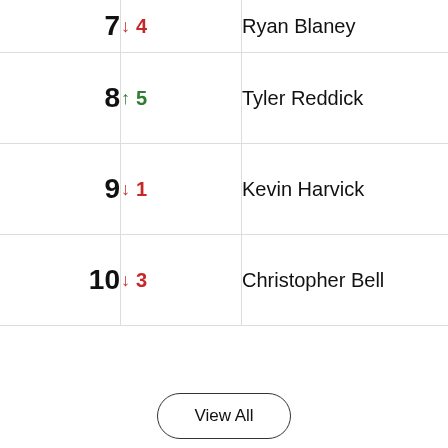| Rank | Change | Driver |
| --- | --- | --- |
| 7 | ↓ 4 | Ryan Blaney |
| 8 | ↑ 5 | Tyler Reddick |
| 9 | ↓ 1 | Kevin Harvick |
| 10 | ↓ 3 | Christopher Bell |
View All
AP Sports | © 2022 Associated Press  Privacy Policy  Terms of Use  AP News  AP Images  ap.org